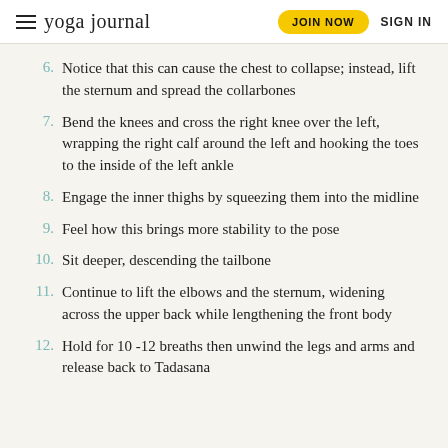yoga journal | JOIN NOW | SIGN IN
6. Notice that this can cause the chest to collapse; instead, lift the sternum and spread the collarbones
7. Bend the knees and cross the right knee over the left, wrapping the right calf around the left and hooking the toes to the inside of the left ankle
8. Engage the inner thighs by squeezing them into the midline
9. Feel how this brings more stability to the pose
10. Sit deeper, descending the tailbone
11. Continue to lift the elbows and the sternum, widening across the upper back while lengthening the front body
12. Hold for 10 -12 breaths then unwind the legs and arms and release back to Tadasana